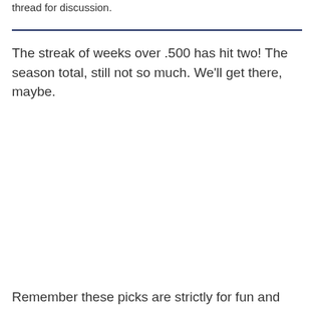thread for discussion.
The streak of weeks over .500 has hit two! The season total, still not so much. We'll get there, maybe.
Remember these picks are strictly for fun and